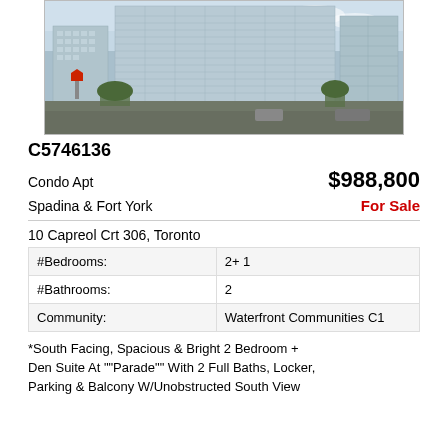[Figure (photo): Exterior photo of modern condominium towers at Spadina & Fort York, Toronto. Tall glass and concrete residential buildings with street-level retail, trees, and intersection visible in foreground.]
C5746136
Condo Apt	$988,800
Spadina & Fort York	For Sale
10 Capreol Crt 306, Toronto
| Field | Value |
| --- | --- |
| #Bedrooms: | 2+ 1 |
| #Bathrooms: | 2 |
| Community: | Waterfront Communities C1 |
*South Facing, Spacious & Bright 2 Bedroom + Den Suite At ""Parade"" With 2 Full Baths, Locker, Parking & Balcony W/Unobstructed South View